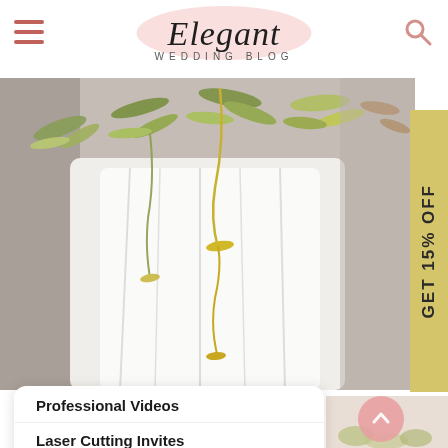Elegant Wedding Blog
[Figure (photo): Wedding scene with white fabric/dress and hanging green and golden fern/leaf decorations overhead]
GET 15% OFF
Professional Videos
Laser Cutting Invites
2022 New Arrivals
Affordable Invitations
Blue Color Invitations
Burgundy Invitations
[Figure (photo): Close-up of a light peachy/beige background with green botanical elements, partial view]